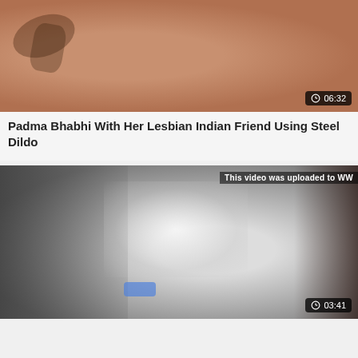[Figure (photo): Video thumbnail showing close-up skin tones with duration badge showing 06:32]
Padma Bhabhi With Her Lesbian Indian Friend Using Steel Dildo
[Figure (photo): Video thumbnail showing blurry indoor room scene with watermark text 'This video was uploaded to WW' and duration badge showing 03:41]